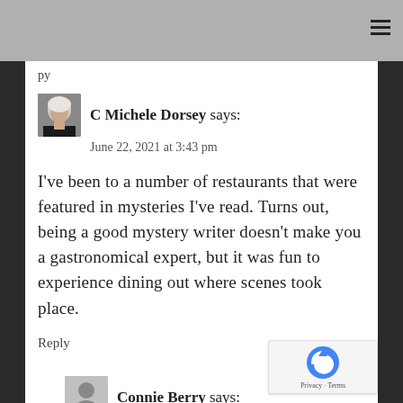py
C Michele Dorsey says:
June 22, 2021 at 3:43 pm
I've been to a number of restaurants that were featured in mysteries I've read. Turns out, being a good mystery writer doesn't make you a gastronomical expert, but it was fun to experience dining out where scenes took place.
Reply
Connie Berry says:
June 23, 2021 at 6:55 am
Emilya, rhubarb??? I can't imagine anyone not